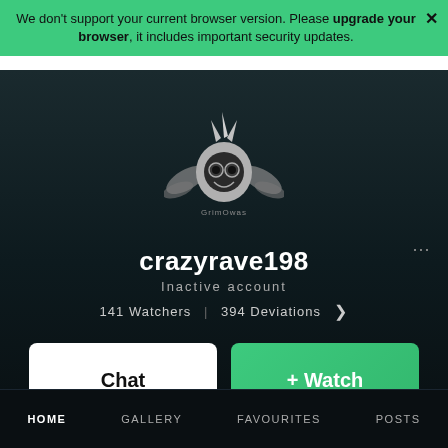We don't support your current browser version. Please upgrade your browser, it includes important security updates.
[Figure (logo): DeviantArt stylized owl/creature logo in silver metallic tones with wings, horns, and a mask-like face. Text 'GrimOwas' beneath.]
crazyrave198
Inactive account
141 Watchers  |  394 Deviations  >  ...
Chat
+ Watch
HOME   GALLERY   FAVOURITES   POSTS